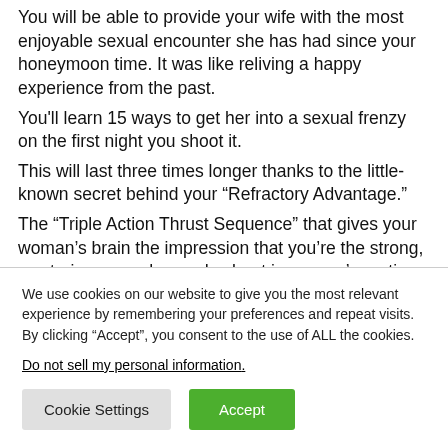You will be able to provide your wife with the most enjoyable sexual encounter she has had since your honeymoon time. It was like reliving a happy experience from the past.
You'll learn 15 ways to get her into a sexual frenzy on the first night you shoot it.
This will last three times longer thanks to the little-known secret behind your “Refractory Advantage.”
The “Triple Action Thrust Sequence” that gives your woman’s brain the impression that you’re the strong, mysterious guy she reads about in women’s erotica novels.
We use cookies on our website to give you the most relevant experience by remembering your preferences and repeat visits. By clicking “Accept”, you consent to the use of ALL the cookies.
Do not sell my personal information.